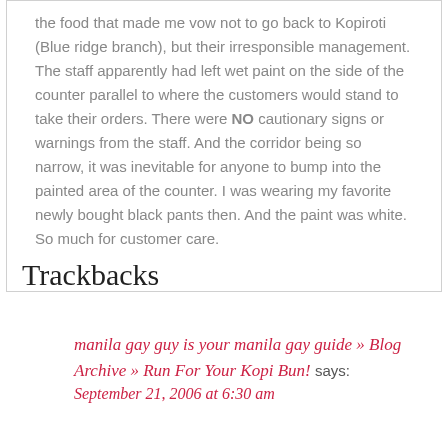the food that made me vow not to go back to Kopiroti (Blue ridge branch), but their irresponsible management. The staff apparently had left wet paint on the side of the counter parallel to where the customers would stand to take their orders. There were NO cautionary signs or warnings from the staff. And the corridor being so narrow, it was inevitable for anyone to bump into the painted area of the counter. I was wearing my favorite newly bought black pants then. And the paint was white. So much for customer care.
Trackbacks
manila gay guy is your manila gay guide » Blog Archive » Run For Your Kopi Bun! says: September 21, 2006 at 6:30 am